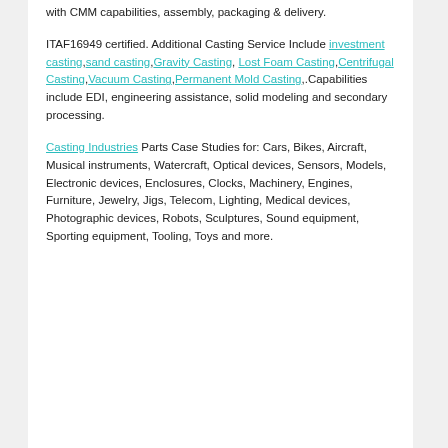with CMM capabilities, assembly, packaging & delivery.
ITAF16949 certified. Additional Casting Service Include investment casting,sand casting,Gravity Casting, Lost Foam Casting,Centrifugal Casting,Vacuum Casting,Permanent Mold Casting,.Capabilities include EDI, engineering assistance, solid modeling and secondary processing.
Casting Industries Parts Case Studies for: Cars, Bikes, Aircraft, Musical instruments, Watercraft, Optical devices, Sensors, Models, Electronic devices, Enclosures, Clocks, Machinery, Engines, Furniture, Jewelry, Jigs, Telecom, Lighting, Medical devices, Photographic devices, Robots, Sculptures, Sound equipment, Sporting equipment, Tooling, Toys and more.